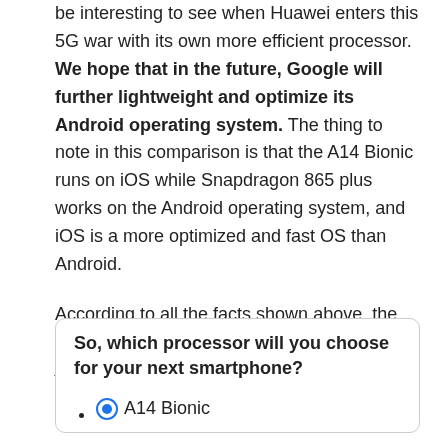be interesting to see when Huawei enters this 5G war with its own more efficient processor. We hope that in the future, Google will further lightweight and optimize its Android operating system. The thing to note in this comparison is that the A14 Bionic runs on iOS while Snapdragon 865 plus works on the Android operating system, and iOS is a more optimized and fast OS than Android.

According to all the facts shown above, the winner of 'Snapdragon 865 Plus VS Apple A14 Bionic A14' is the obviously A14 Bionic.
So, which processor will you choose for your next smartphone?
A14 Bionic